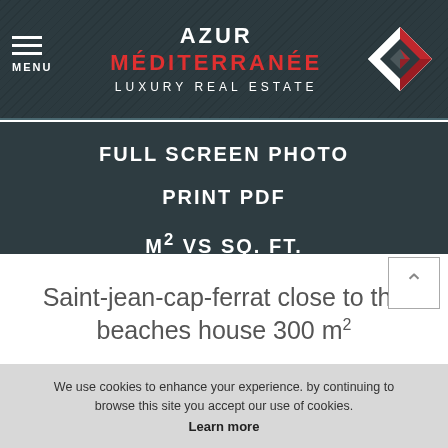MENU | AZUR MÉDITERRANÉE LUXURY REAL ESTATE
FULL SCREEN PHOTO
PRINT PDF
M² VS SQ. FT.
◄ SHARE
367L13M
Saint-jean-cap-ferrat close to the beaches house 300 m²
We use cookies to enhance your experience. by continuing to browse this site you accept our use of cookies. Learn more